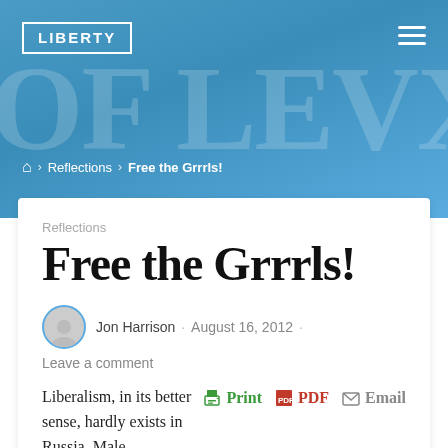LIBERTY
⌂ › Reflections › Free the Grrrls!
Reflections
Free the Grrrls!
Jon Harrison · August 16, 2012 ·
Leave a comment
Liberalism, in its better sense, hardly exists in Russia. Male chauvinism, cronyism, and the pressure of cult obedience...